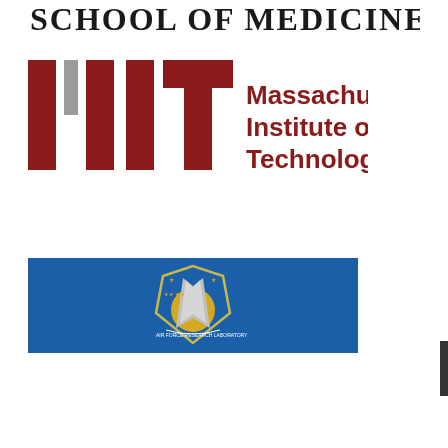[Figure (logo): Partial text reading 'SCHOOL OF MEDICINE' in large bold serif letters, partially cropped at top]
[Figure (logo): MIT logo: red and grey geometric letterforms spelling MIT on the left, with 'Massachusetts Institute of Technology' in dark red/maroon bold text on the right]
[Figure (logo): Air Force Research Laboratory logo: blue rectangular banner with AFRL shield/crest in center featuring a yellow circle, grey/white arrow, green shield outline, stars, and a scroll banner reading 'AIR FORCE RESEARCH LABORATORY']